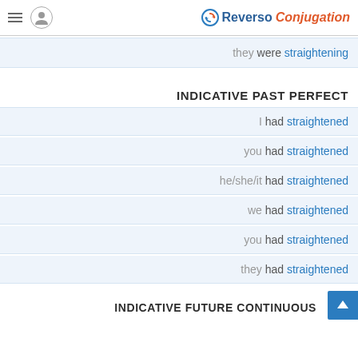Reverso Conjugation
they were straightening
INDICATIVE PAST PERFECT
I had straightened
you had straightened
he/she/it had straightened
we had straightened
you had straightened
they had straightened
INDICATIVE FUTURE CONTINUOUS